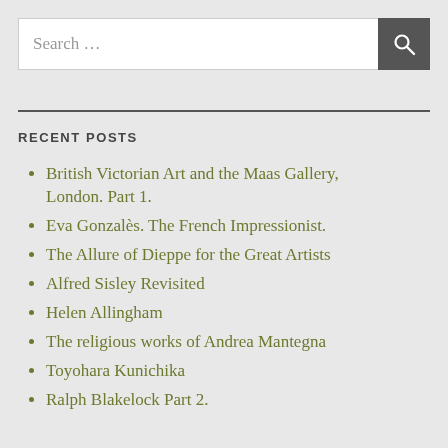[Figure (other): Search input field with magnifying glass button]
RECENT POSTS
British Victorian Art and the Maas Gallery, London. Part 1.
Eva Gonzalès. The French Impressionist.
The Allure of Dieppe for the Great Artists
Alfred Sisley Revisited
Helen Allingham
The religious works of Andrea Mantegna
Toyohara Kunichika
Ralph Blakelock Part 2.